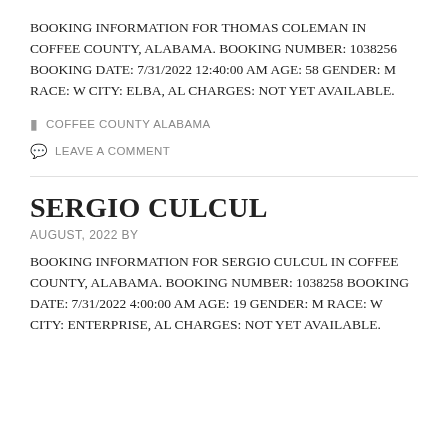BOOKING INFORMATION FOR THOMAS COLEMAN IN COFFEE COUNTY, ALABAMA. BOOKING NUMBER: 1038256 BOOKING DATE: 7/31/2022 12:40:00 AM AGE: 58 GENDER: M RACE: W CITY: ELBA, AL CHARGES: NOT YET AVAILABLE.
COFFEE COUNTY ALABAMA
LEAVE A COMMENT
SERGIO CULCUL
AUGUST, 2022 BY
BOOKING INFORMATION FOR SERGIO CULCUL IN COFFEE COUNTY, ALABAMA. BOOKING NUMBER: 1038258 BOOKING DATE: 7/31/2022 4:00:00 AM AGE: 19 GENDER: M RACE: W CITY: ENTERPRISE, AL CHARGES: NOT YET AVAILABLE.